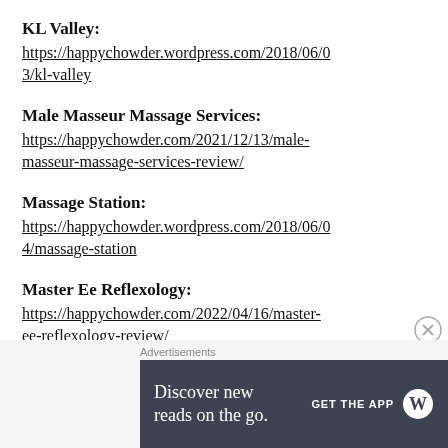KL Valley:
https://happychowder.wordpress.com/2018/06/03/kl-valley
Male Masseur Massage Services:
https://happychowder.com/2021/12/13/male-masseur-massage-services-review/
Massage Station:
https://happychowder.wordpress.com/2018/06/04/massage-station
Master Ee Reflexology:
https://happychowder.com/2022/04/16/master-ee-reflexology-review/
Advertisements
[Figure (screenshot): WordPress advertisement banner: 'Discover new reads on the go. GET THE APP' with WordPress logo on dark background]